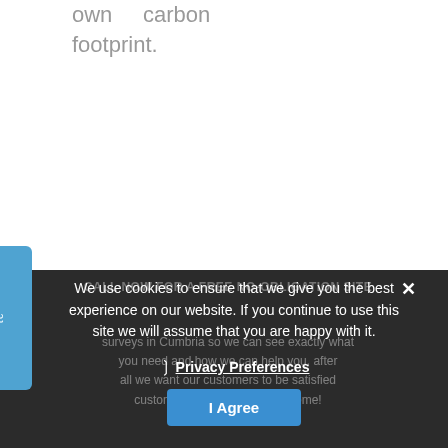own carbon footprint.
CALL NOW FOR A FREE NO-OBLIGATION SITE
surveys in Cumbria so we can see exactly what you need and how we can help you, after all we want our customers to be satisfied customers for many years to come!
We use cookies to ensure that we give you the best experience on our website. If you continue to use this site we will assume that you are happy with it.
Privacy Preferences
I Agree